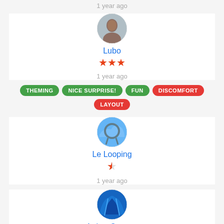1 year ago
[Figure (photo): Circular avatar photo of a man]
Lubo
★★★ (3 stars)
1 year ago
THEMING
NICE SURPRISE!
FUN
DISCOMFORT
LAYOUT
[Figure (photo): Circular image of Le Looping roller coaster against blue sky]
Le Looping
★ (1 star, half-star style)
1 year ago
[Figure (photo): Circular image of Arthur Coaster roller coaster]
Arthur Coaster
★★★ (3 stars)
1 year ago